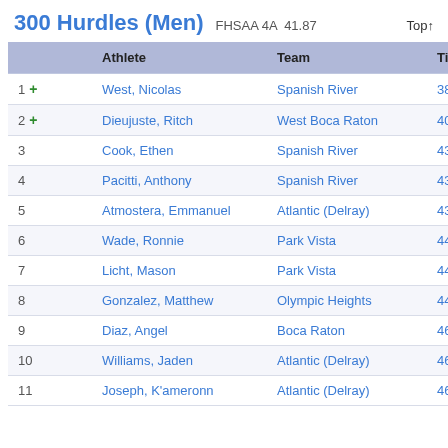300 Hurdles (Men)   FHSAA 4A  41.87   Top↑
|  | Athlete | Team | Time |
| --- | --- | --- | --- |
| 1 + | West, Nicolas | Spanish River | 38.59 |
| 2 + | Dieujuste, Ritch | West Boca Raton | 40.16 |
| 3 | Cook, Ethen | Spanish River | 43.19 |
| 4 | Pacitti, Anthony | Spanish River | 43.25 |
| 5 | Atmostera, Emmanuel | Atlantic (Delray) | 43.61 |
| 6 | Wade, Ronnie | Park Vista | 44.12 |
| 7 | Licht, Mason | Park Vista | 44.19 |
| 8 | Gonzalez, Matthew | Olympic Heights | 44.68 |
| 9 | Diaz, Angel | Boca Raton | 46.07 |
| 10 | Williams, Jaden | Atlantic (Delray) | 46.35 |
| 11 | Joseph, K'ameronn | Atlantic (Delray) | 46.41 |